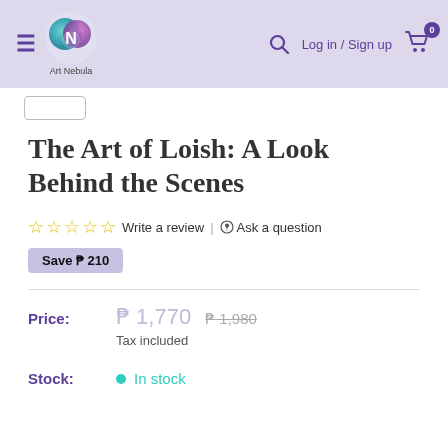Art Nebula — Log in / Sign up
The Art of Loish: A Look Behind the Scenes
☆☆☆☆☆ Write a review | Ask a question
Save ₱ 210
Price: ₱ 1,770  ₱ 1,980
Tax included
Stock: In stock